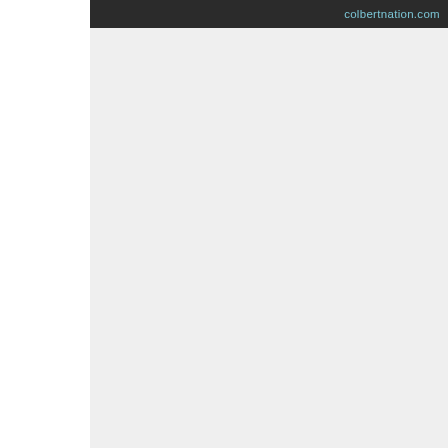colbertnation.com
[Figure (screenshot): Large light gray content area, likely a video embed or image placeholder on colbertnation.com]
Colbert Report Full Episodes
Political Humor
NASA Name Contest
Post by ILO on 04/19/09 a